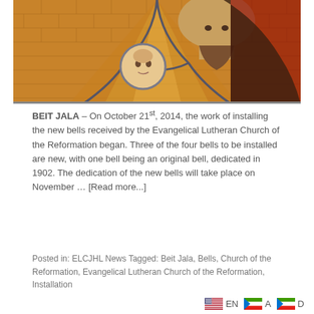[Figure (illustration): Stained glass or painted artwork showing a bearded man (Jesus) holding a child, with rays emanating from behind, brick wall in background, red and gold tones.]
BEIT JALA – On October 21st, 2014, the work of installing the new bells received by the Evangelical Lutheran Church of the Reformation began. Three of the four bells to be installed are new, with one bell being an original bell, dedicated in 1902. The dedication of the new bells will take place on November … [Read more...]
Posted in: ELCJHL News Tagged: Beit Jala, Bells, Church of the Reformation, Evangelical Lutheran Church of the Reformation, Installation
EN  A  D